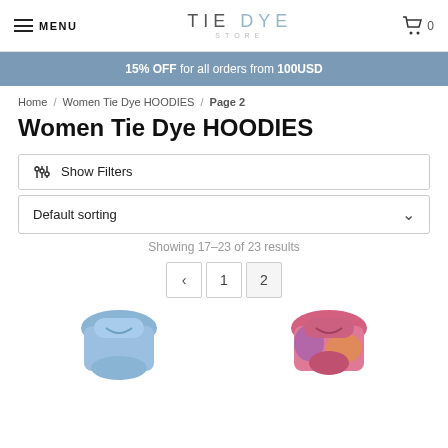MENU | TIE DYE STORE | Cart 0
15% OFF for all orders from 100USD
Home / Women Tie Dye HOODIES / Page 2
Women Tie Dye HOODIES
Show Filters
Default sorting
Showing 17–23 of 23 results
Pagination: < 1 2
[Figure (photo): Two product thumbnails of women tie dye hoodies at the bottom of the page]